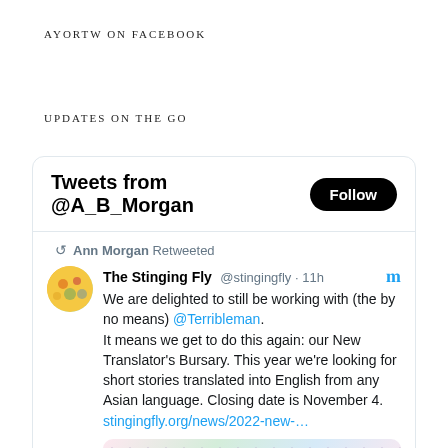AYORTW ON FACEBOOK
UPDATES ON THE GO
[Figure (screenshot): Twitter widget showing tweets from @A_B_Morgan with a Follow button. Contains a retweet by Ann Morgan of The Stinging Fly (@stingingfly, 11h) about a New Translator's Bursary for short stories translated into English from Asian languages, closing date November 4. Includes a link: stingingfly.org/news/2022-new-... and a preview image.]